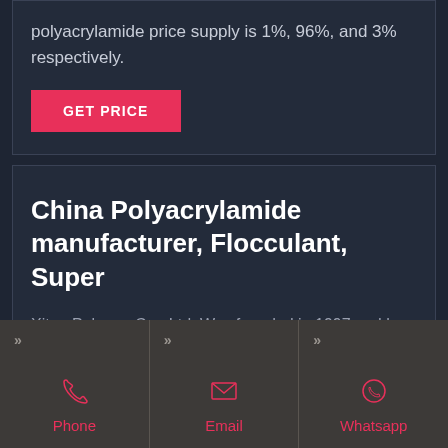polyacrylamide price supply is 1%, 96%, and 3% respectively.
GET PRICE
China Polyacrylamide manufacturer, Flocculant, Super
Xitao Polymer Co., Ltd. Was founded in 1997 and has been dedicating to the innovation of
Phone
Email
Whatsapp